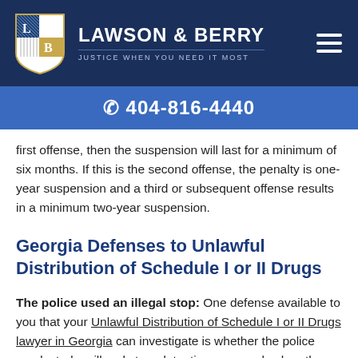LAWSON & BERRY — JUSTICE WHEN YOU NEED IT MOST
☎ 404-816-4440
first offense, then the suspension will last for a minimum of six months. If this is the second offense, the penalty is one-year suspension and a third or subsequent offense results in a minimum two-year suspension.
Georgia Defenses to Unlawful Distribution of Schedule I or II Drugs
The police used an illegal stop: One defense available to you that your Unlawful Distribution of Schedule I or II Drugs lawyer in Georgia can investigate is whether the police conducted an illegal stop, detention, or search when they discovered the drugs. Police officers must have a